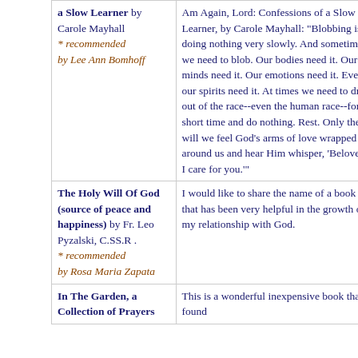| a Slow Learner by Carole Mayhall
* recommended by Lee Ann Bomhoff | Am Again, Lord: Confessions of a Slow Learner, by Carole Mayhall: "Blobbing is doing nothing very slowly. And sometimes we need to blob. Our bodies need it. Our minds need it. Our emotions need it. Even our spirits need it. At times we need to drop out of the race--even the human race--for a short time and do nothing. Rest. Only then will we feel God's arms of love wrapped around us and hear Him whisper, 'Beloved, I care for you.'" |
| The Holy Will Of God (source of peace and happiness) by Fr. Leo Pyzalski, C.SS.R .
* recommended by Rosa Maria Zapata | I would like to share the name of a book that has been very helpful in the growth of my relationship with God. |
| In The Garden, a Collection of Prayers | This is a wonderful inexpensive book that I found |